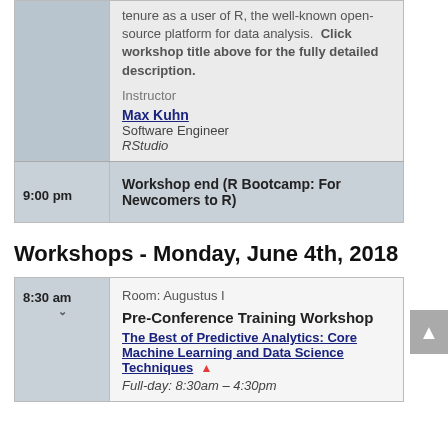tenure as a user of R, the well-known open-source platform for data analysis. Click workshop title above for the fully detailed description.
Instructor
Max Kuhn
Software Engineer
RStudio
| Time | Event |
| --- | --- |
| 9:00 pm | Workshop end (R Bootcamp: For Newcomers to R) |
Workshops - Monday, June 4th, 2018
| Time | Event |
| --- | --- |
| 8:30 am | Room: Augustus I
Pre-Conference Training Workshop
The Best of Predictive Analytics: Core Machine Learning and Data Science Techniques
Full-day: 8:30am – 4:30pm |